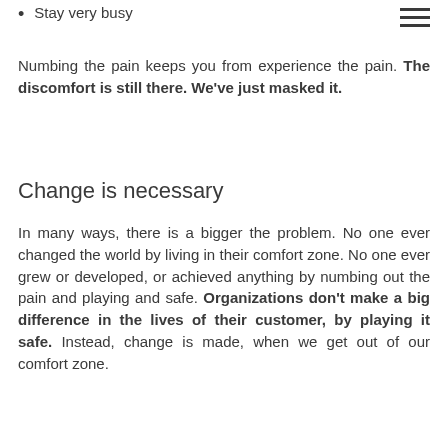Stay very busy
Numbing the pain keeps you from experience the pain. The discomfort is still there. We've just masked it.
Change is necessary
In many ways, there is a bigger the problem. No one ever changed the world by living in their comfort zone. No one ever grew or developed, or achieved anything by numbing out the pain and playing and safe. Organizations don't make a big difference in the lives of their customer, by playing it safe. Instead, change is made, when we get out of our comfort zone.